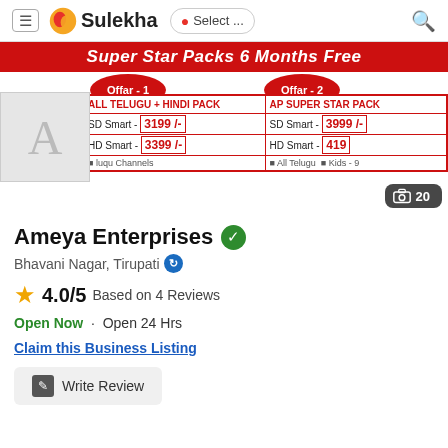Sulekha — Select ... (navigation bar)
[Figure (screenshot): Promotional banner for Super Star Packs showing 6 Months Free offer with two offer badges (Offar-1 and Offar-2) and a table listing pack prices: ALL TELUGU + HINDI PACK with SD Smart 3199/- and HD Smart 3399/-, AP SUPER STAR PACK with SD Smart 3999/- and HD Smart 4190-something, photo count badge showing 20]
Ameya Enterprises
Bhavani Nagar, Tirupati
4.0/5 Based on 4 Reviews
Open Now · Open 24 Hrs
Claim this Business Listing
Write Review